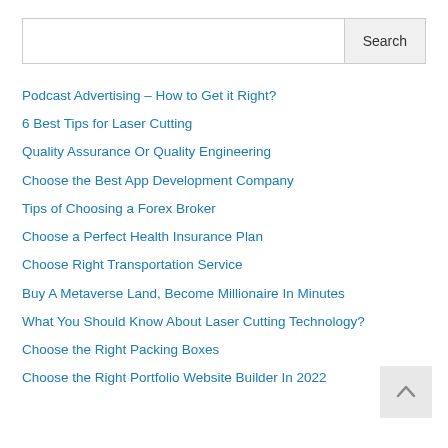Podcast Advertising – How to Get it Right?
6 Best Tips for Laser Cutting
Quality Assurance Or Quality Engineering
Choose the Best App Development Company
Tips of Choosing a Forex Broker
Choose a Perfect Health Insurance Plan
Choose Right Transportation Service
Buy A Metaverse Land, Become Millionaire In Minutes
What You Should Know About Laser Cutting Technology?
Choose the Right Packing Boxes
Choose the Right Portfolio Website Builder In 2022